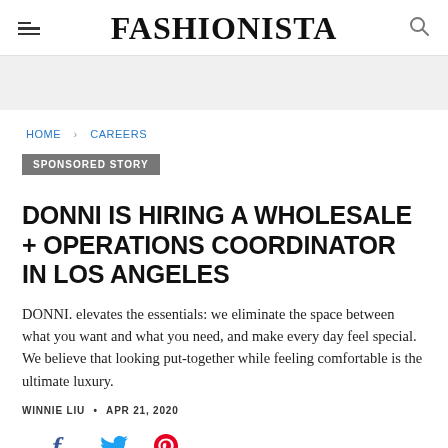FASHIONISTA
[Figure (other): Gray advertisement banner placeholder]
HOME > CAREERS
SPONSORED STORY
DONNI IS HIRING A WHOLESALE + OPERATIONS COORDINATOR IN LOS ANGELES
DONNI. elevates the essentials: we eliminate the space between what you want and what you need, and make every day feel special. We believe that looking put-together while feeling comfortable is the ultimate luxury.
WINNIE LIU • APR 21, 2020
[Figure (other): Social sharing icons: Facebook, Twitter, Pinterest]